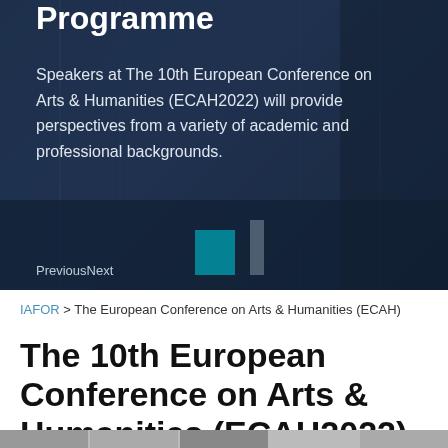[Figure (screenshot): Hero banner with dark architectural background showing text about ECAH2022 conference programme. Bottom shows navigation controls 'PreviousNext'.]
IAFOR > The European Conference on Arts & Humanities (ECAH)
The 10th European Conference on Arts & Humanities (ECAH2022)